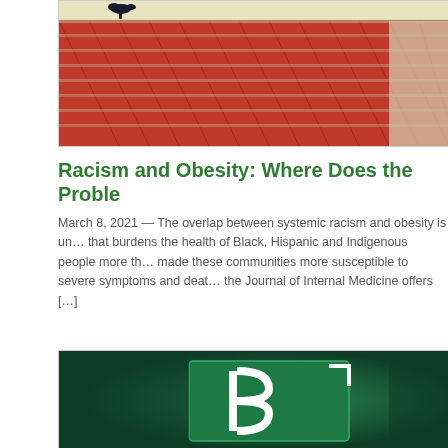[Figure (photo): Photo of a bird perched on red clay roof tiles with a light wall visible on the right side.]
Racism and Obesity: Where Does the Proble…
March 8, 2021 — The overlap between systemic racism and obesity is un… that burdens the health of Black, Hispanic and Indigenous people more th… made these communities more susceptible to severe symptoms and deat… the Journal of Internal Medicine offers […]
[Figure (photo): Photo showing a green sign with a white letter B shape, suggesting a street or informational sign on a dark green background.]